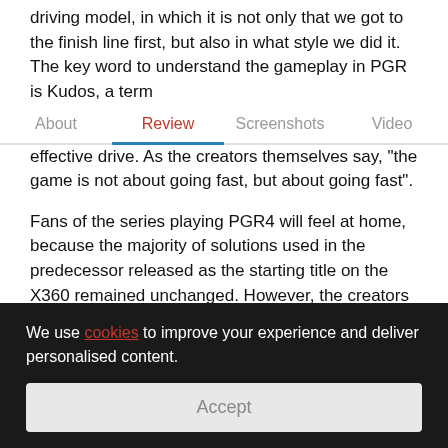driving model, in which it is not only that we got to the finish line first, but also in what style we did it. The key word to understand the gameplay in PGR is Kudos, a term
About   Review   Screenshots   Video
effective drive. As the creators themselves say, "the game is not about going fast, but about going fast".
Fans of the series playing PGR4 will feel at home, because the majority of solutions used in the predecessor released as the starting title on the X360 remained unchanged. However, the creators did not rest on their laurels and introduced some variations to the game, which give a new flavor to the game. Among them, two new
We use cookies to improve your experience and deliver personalised content.
Accept